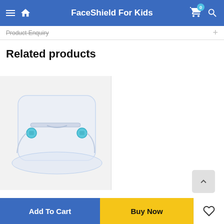FaceShield For Kids
Product Enquiry
Related products
[Figure (photo): A transparent face shield/visor with blue side clips and an adjustable strap, shown on a light background.]
Add To Cart
Buy Now